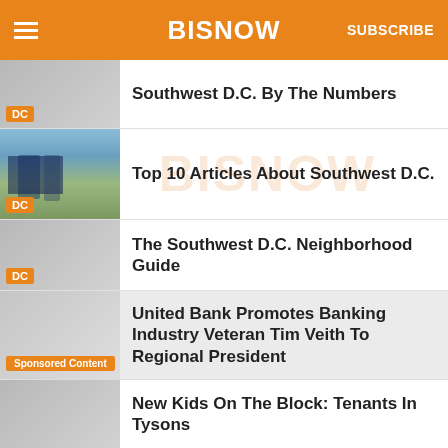BISNOW
Southwest D.C. By The Numbers
Top 10 Articles About Southwest D.C.
The Southwest D.C. Neighborhood Guide
United Bank Promotes Banking Industry Veteran Tim Veith To Regional President
Sponsored Content
New Kids On The Block: Tenants In Tysons